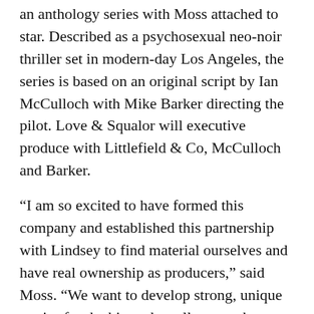an anthology series with Moss attached to star. Described as a psychosexual neo-noir thriller set in modern-day Los Angeles, the series is based on an original script by Ian McCulloch with Mike Barker directing the pilot. Love & Squalor will executive produce with Littlefield & Co, McCulloch and Barker.
“I am so excited to have formed this company and established this partnership with Lindsey to find material ourselves and have real ownership as producers,” said Moss. “We want to develop strong, unique stories for the big and small screen that we feel are inclusive and represent the world that we all see around us. We are very proud of the slate that we are building, comprised of projects that run the gamut from broad, commercial fare to darker, more challenging works. Craig Erwich and Hulu have been amazing partners on The Handmaid’s Tale these past 3 seasons and I am thrilled to be starting a creative partnership with Bert Salke and everyone at Fox 21.”
“Elisabeth is a relentless creative force in the world of television and film, both in front of, and behind the camera,” commented